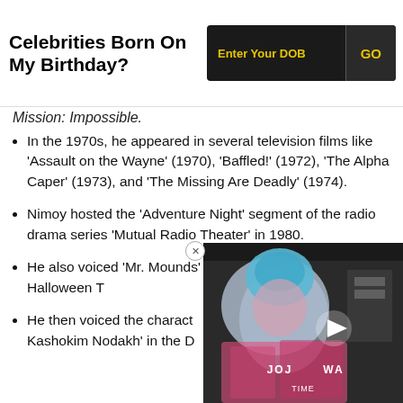Celebrities Born On My Birthday?
Mission: Impossible.
In the 1970s, he appeared in several television films like 'Assault on the Wayne' (1970), 'Baffled!' (1972), 'The Alpha Caper' (1973), and 'The Missing Are Deadly' (1974).
Nimoy hosted the 'Adventure Night' segment of the radio drama series 'Mutual Radio Theater' in 1980.
He also voiced 'Mr. Mounds' in the TV movie 'The Halloween T...
He then voiced the charact... Kashokim Nodakh' in the D...
[Figure (screenshot): Video player overlay showing a performer in colorful costume with play button, JOJA text watermark and TIME badge]